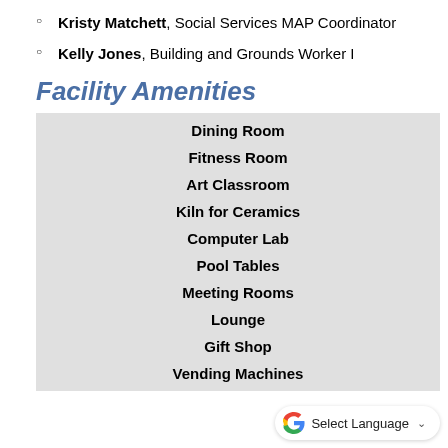Kristy Matchett, Social Services MAP Coordinator
Kelly Jones, Building and Grounds Worker I
Facility Amenities
Dining Room
Fitness Room
Art Classroom
Kiln for Ceramics
Computer Lab
Pool Tables
Meeting Rooms
Lounge
Gift Shop
Vending Machines